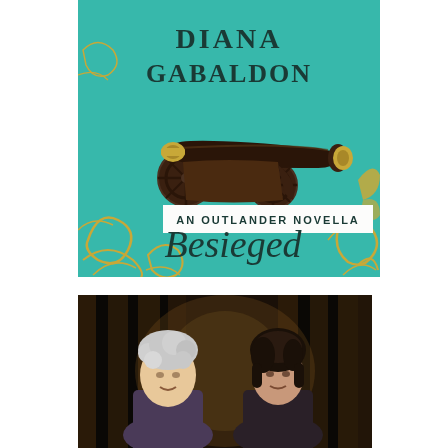[Figure (illustration): Book cover of 'Besieged' by Diana Gabaldon. Teal/turquoise background with gold swirl decorations. Features a dark antique cannon with gold accents in the center. Text at top reads 'DIANA GABALDON' in dark serif font. A white banner reads 'AN OUTLANDER NOVELLA'. Title 'Besieged' in italic script at bottom.]
[Figure (photo): Photograph of two people standing in front of dark curtains. On the left is an older person with curly gray/white hair, and on the right is a younger person with dark hair. The background shows vertical dark curtain folds with some warm lighting.]